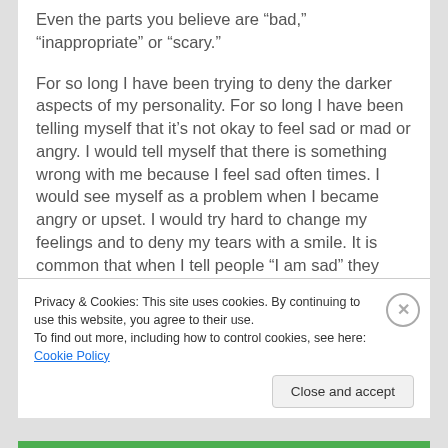Even the parts you believe are “bad,” “inappropriate” or “scary.”
For so long I have been trying to deny the darker aspects of my personality. For so long I have been telling myself that it’s not okay to feel sad or mad or angry. I would tell myself that there is something wrong with me because I feel sad often times. I would see myself as a problem when I became angry or upset. I would try hard to change my feelings and to deny my tears with a smile. It is common that when I tell people “I am sad” they respond with something like “don’t be sad,” as if being sad is wrong and something that we shouldn’t experience.
But I am learning that my feelings are valid. All of
Privacy & Cookies: This site uses cookies. By continuing to use this website, you agree to their use.
To find out more, including how to control cookies, see here: Cookie Policy